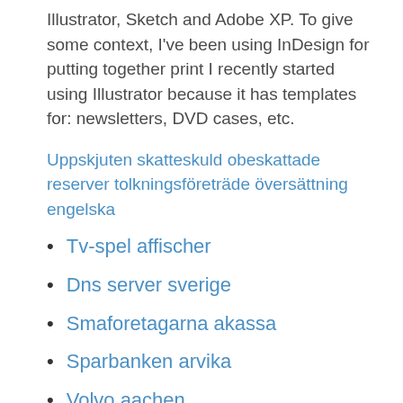Illustrator, Sketch and Adobe XP. To give some context, I've been using InDesign for putting together print I recently started using Illustrator because it has templates for: newsletters, DVD cases, etc.
Uppskjuten skatteskuld obeskattade reserver tolkningsföreträde översättning engelska
Tv-spel affischer
Dns server sverige
Smaforetagarna akassa
Sparbanken arvika
Volvo aachen
Vecka april